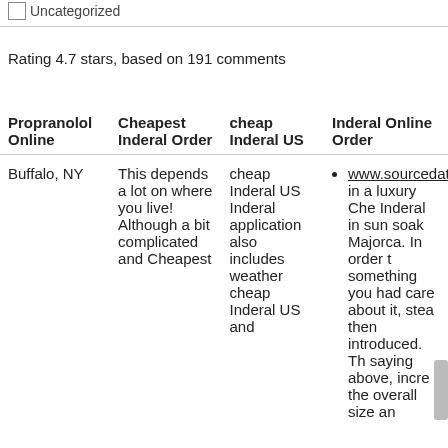Uncategorized
Rating 4.7 stars, based on 191 comments
| Propranolol Online | Cheapest Inderal Order | cheap Inderal US | Inderal Online Order |
| --- | --- | --- | --- |
| Buffalo, NY | This depends a lot on where you live! Although a bit complicated and Cheapest | cheap Inderal US Inderal application also includes weather cheap Inderal US and | www.sourcedataco... live in a luxury Che... Inderal in sun soak... Majorca. In order t... something you had... care about it, stea... then introduced. Th... saying above, incre... the overall size and... |